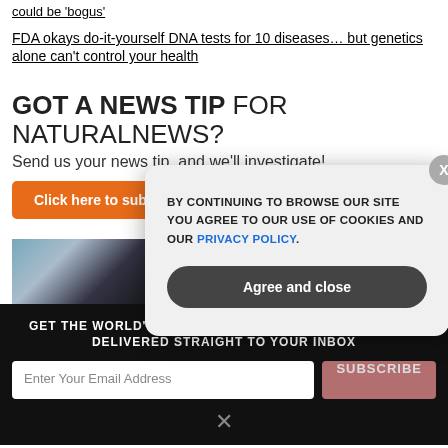could be 'bogus'
FDA okays do-it-yourself DNA tests for 10 diseases… but genetics alone can't control your health
GOT A NEWS TIP FOR NATURALNEWS?
Send us your news tip, and we'll investigate!
Click here to submit a news tip to NaturalNews
[Figure (photo): Person headshot and The Contagious Mind audio book advertisement images]
GET THE WORLD'S BEST NATURAL HEALTH NEWSLETTER DELIVERED STRAIGHT TO YOUR INBOX
Enter Your Email Address
SUBSCRIBE
BY CONTINUING TO BROWSE OUR SITE YOU AGREE TO OUR USE OF COOKIES AND OUR PRIVACY POLICY.
Agree and close